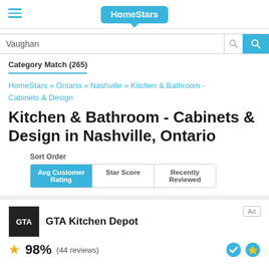HomeStars
Vaughan
Category Match (265)
HomeStars » Ontario » Nashville » Kitchen & Bathroom - Cabinets & Design
Kitchen & Bathroom - Cabinets & Design in Nashville, Ontario
Sort Order
Avg Customer Rating
Star Score
Recently Reviewed
GTA Kitchen Depot
98%  (44 reviews)